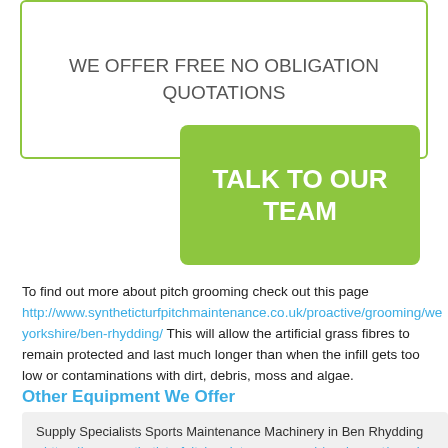WE OFFER FREE NO OBLIGATION QUOTATIONS
TALK TO OUR TEAM
To find out more about pitch grooming check out this page http://www.syntheticturfpitchmaintenance.co.uk/proactive/grooming/west-yorkshire/ben-rhydding/ This will allow the artificial grass fibres to remain protected and last much longer than when the infill gets too low or contaminations with dirt, debris, moss and algae.
Other Equipment We Offer
Supply Specialists Sports Maintenance Machinery in Ben Rhydding - https://www.syntheticturfpitchmaintenance.co.uk/equipment/supply-machinery/west-yorkshire/ben-rhydding/